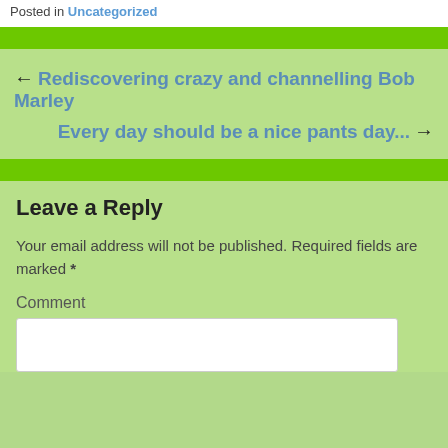Posted in Uncategorized
← Rediscovering crazy and channelling Bob Marley
Every day should be a nice pants day… →
Leave a Reply
Your email address will not be published. Required fields are marked *
Comment